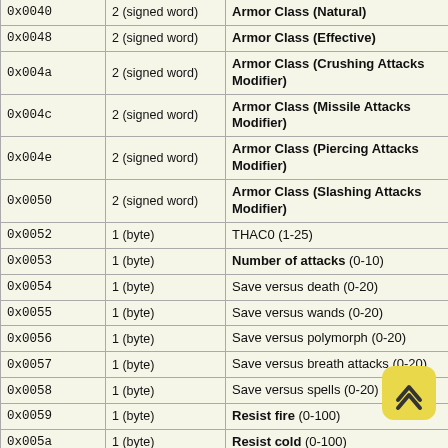| Offset | Size | Description |
| --- | --- | --- |
| 0x0048 | 2 (signed word) | Armor Class (Effective) |
| 0x004a | 2 (signed word) | Armor Class (Crushing Attacks Modifier) |
| 0x004c | 2 (signed word) | Armor Class (Missile Attacks Modifier) |
| 0x004e | 2 (signed word) | Armor Class (Piercing Attacks Modifier) |
| 0x0050 | 2 (signed word) | Armor Class (Slashing Attacks Modifier) |
| 0x0052 | 1 (byte) | THAC0 (1-25) |
| 0x0053 | 1 (byte) | Number of attacks (0-10) |
| 0x0054 | 1 (byte) | Save versus death (0-20) |
| 0x0055 | 1 (byte) | Save versus wands (0-20) |
| 0x0056 | 1 (byte) | Save versus polymorph (0-20) |
| 0x0057 | 1 (byte) | Save versus breath attacks (0-20) |
| 0x0058 | 1 (byte) | Save versus spells (0-20) |
| 0x0059 | 1 (byte) | Resist fire (0-100) |
| 0x005a | 1 (byte) | Resist cold (0-100) |
| 0x005b | 1 (byte) | Resist electricity (0-100) |
| 0x005c | 1 (byte) | Resist acid (0-100) |
| 0x005d | 1 (byte) | Resist magic (0-100) |
| 0x005e | 1 (byte) | Resist magic fire (0-100) |
| 0x005f | 1 (byte) | Resist magic cold (0-100) |